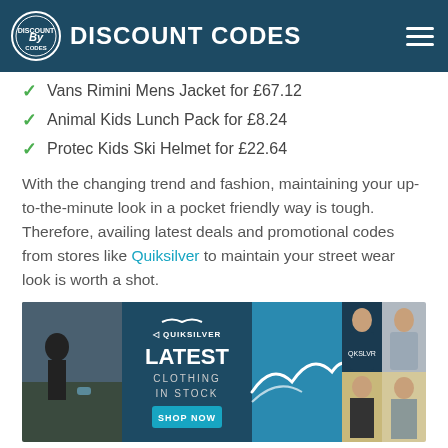DISCOUNT CODES
Vans Rimini Mens Jacket for £67.12
Animal Kids Lunch Pack for £8.24
Protec Kids Ski Helmet for £22.64
With the changing trend and fashion, maintaining your up-to-the-minute look in a pocket friendly way is tough. Therefore, availing latest deals and promotional codes from stores like Quiksilver to maintain your street wear look is worth a shot.
[Figure (photo): Quiksilver advertisement banner showing 'LATEST CLOTHING IN STOCK' with SHOP NOW button and several photos of men wearing Quiksilver clothing outdoors]
Redeem Extreme Bie Discount Voucher